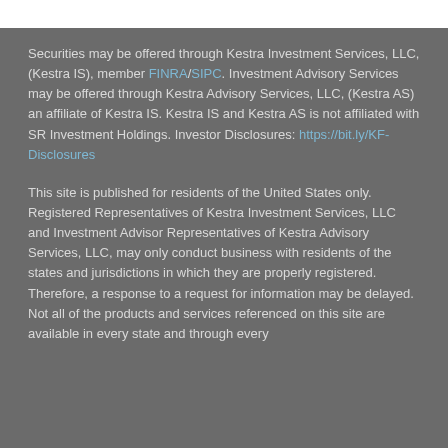Securities may be offered through Kestra Investment Services, LLC, (Kestra IS), member FINRA/SIPC. Investment Advisory Services may be offered through Kestra Advisory Services, LLC, (Kestra AS) an affiliate of Kestra IS. Kestra IS and Kestra AS is not affiliated with SR Investment Holdings. Investor Disclosures:  https://bit.ly/KF-Disclosures
This site is published for residents of the United States only. Registered Representatives of Kestra Investment Services, LLC and Investment Advisor Representatives of Kestra Advisory Services, LLC, may only conduct business with residents of the states and jurisdictions in which they are properly registered. Therefore, a response to a request for information may be delayed. Not all of the products and services referenced on this site are available in every state and through every